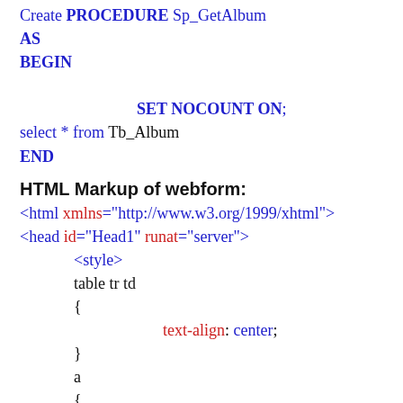Create PROCEDURE Sp_GetAlbum
AS
BEGIN

    SET NOCOUNT ON;
select * from Tb_Album
END
HTML Markup of webform:
<html xmlns="http://www.w3.org/1999/xhtml">
<head id="Head1" runat="server">
  <style>
  table tr td
  {
      text-align: center;
  }
  a
  {
      text-decoration: none;
    font-weight: bold;
    font-size: 18px;
    color: #000;